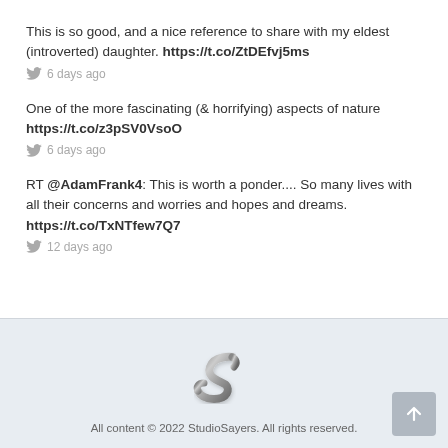This is so good, and a nice reference to share with my eldest (introverted) daughter. https://t.co/ZtDEfvj5ms
6 days ago
One of the more fascinating (& horrifying) aspects of nature https://t.co/z3pSV0VsoO
6 days ago
RT @AdamFrank4: This is worth a ponder.... So many lives with all their concerns and worries and hopes and dreams. https://t.co/TxNTfew7Q7
12 days ago
[Figure (logo): StudioSayers logo - stylized letter S in metallic finish]
All content © 2022 StudioSayers. All rights reserved.